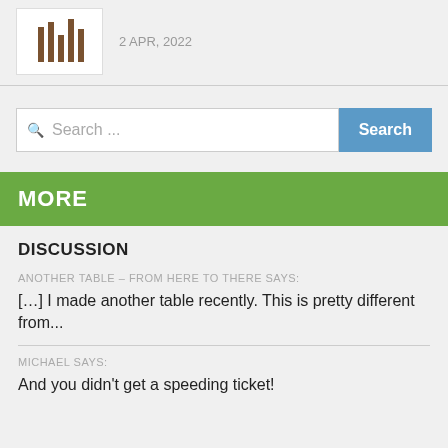[Figure (logo): Logo with vertical bar chart-like graphic in brown/dark colors]
2 APR, 2022
[Figure (other): Search bar with placeholder text 'Search ...' and a blue Search button]
MORE
DISCUSSION
ANOTHER TABLE – FROM HERE TO THERE SAYS:
[…] I made another table recently. This is pretty different from...
MICHAEL SAYS:
And you didn't get a speeding ticket!